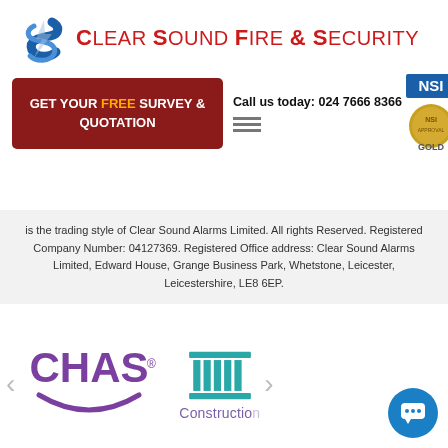[Figure (logo): Clear Sound Fire & Security company logo with spiral S icon in blue and company name in red]
[Figure (infographic): Dark red CTA button reading GET YOUR FREE SURVEY & QUOTATION with phone number Call us today: 024 7666 8366, NSI Gold accreditation badge, and BAFE fire safety register badge ID: 302854]
is the trading style of Clear Sound Alarms Limited. All rights Reserved. Registered Company Number: 04127369. Registered Office address: Clear Sound Alarms Limited, Edward House, Grange Business Park, Whetstone, Leicester, Leicestershire, LE8 6EP.
[Figure (logo): CHAS accreditation logo in purple]
[Figure (logo): Constructionline logo with teal column icon and purple text partially visible]